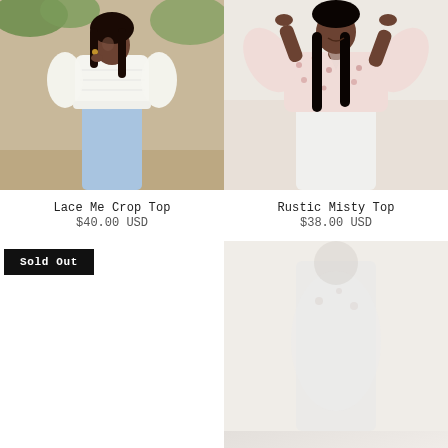[Figure (photo): Woman wearing white lace crop top and light blue wide-leg jeans, posed outdoors with greenery in background]
[Figure (photo): Woman wearing floral pink wrap top and white wide-leg pants, smiling with hands raised to hair, light background]
Lace Me Crop Top
$40.00 USD
Rustic Misty Top
$38.00 USD
[Figure (photo): Sold Out product - partial/blank white product image with Sold Out badge]
[Figure (photo): Partial product image, mostly white/light, person in white outfit partially visible]